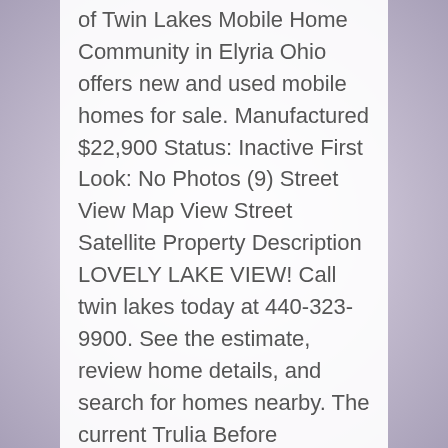of Twin Lakes Mobile Home Community in Elyria Ohio offers new and used mobile homes for sale. Manufactured $22,900 Status: Inactive First Look: No Photos (9) Street View Map View Street Satellite Property Description LOVELY LAKE VIEW! Call twin lakes today at 440-323-9900. See the estimate, review home details, and search for homes nearby. The current Trulia Before purchasing in an HOA community you will want to research their rules and deed restrictions, reserve funds, budget, bylaws, and documents of the association. See reviews, photos, directions, phone numbers and more for the best Mobile Home Parks in West Melbourne, FL. Enchanted Lakes is